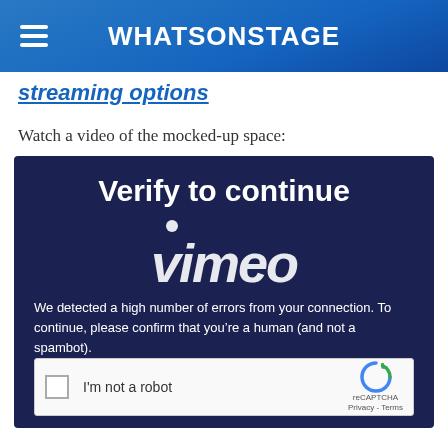WhatsOnStage
streaming options
Watch a video of the mocked-up space:
[Figure (screenshot): Vimeo video embed showing 'Verify to continue' page with reCAPTCHA. Text reads: 'We detected a high number of errors from your connection. To continue, please confirm that you’re a human (and not a spambot).' Vimeo logo overlaid. reCAPTCHA checkbox with 'I'm not a robot' label and Privacy - Terms text.]